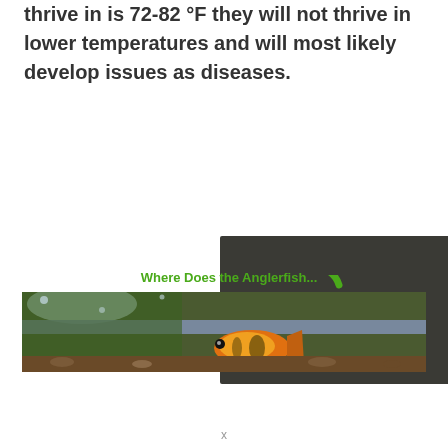thrive in is 72-82 °F they will not thrive in lower temperatures and will most likely develop issues as diseases.
[Figure (screenshot): Dark video thumbnail with a green loading spinner icon in the center]
Where Does the Anglerfish...
[Figure (photo): Close-up photo of a colorful fish (appears to be a tropical or freshwater fish) near aquarium glass with green plants and brown substrate visible]
x